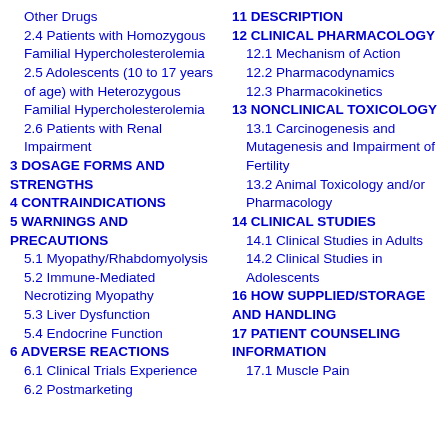Other Drugs
2.4 Patients with Homozygous Familial Hypercholesterolemia
2.5 Adolescents (10 to 17 years of age) with Heterozygous Familial Hypercholesterolemia
2.6 Patients with Renal Impairment
3 DOSAGE FORMS AND STRENGTHS
4 CONTRAINDICATIONS
5 WARNINGS AND PRECAUTIONS
5.1 Myopathy/Rhabdomyolysis
5.2 Immune-Mediated Necrotizing Myopathy
5.3 Liver Dysfunction
5.4 Endocrine Function
6 ADVERSE REACTIONS
6.1 Clinical Trials Experience
6.2 Postmarketing
11 DESCRIPTION
12 CLINICAL PHARMACOLOGY
12.1 Mechanism of Action
12.2 Pharmacodynamics
12.3 Pharmacokinetics
13 NONCLINICAL TOXICOLOGY
13.1 Carcinogenesis and Mutagenesis and Impairment of Fertility
13.2 Animal Toxicology and/or Pharmacology
14 CLINICAL STUDIES
14.1 Clinical Studies in Adults
14.2 Clinical Studies in Adolescents
16 HOW SUPPLIED/STORAGE AND HANDLING
17 PATIENT COUNSELING INFORMATION
17.1 Muscle Pain